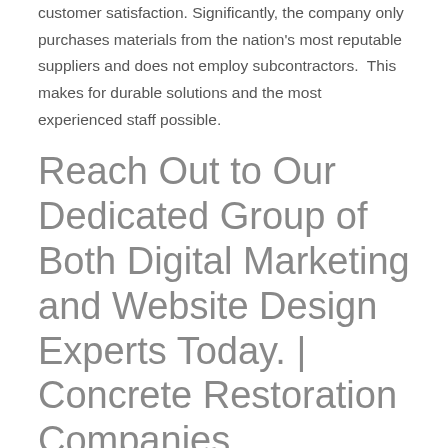customer satisfaction. Significantly, the company only purchases materials from the nation's most reputable suppliers and does not employ subcontractors.  This makes for durable solutions and the most experienced staff possible.
Reach Out to Our Dedicated Group of Both Digital Marketing and Website Design Experts Today. | Concrete Restoration Companies